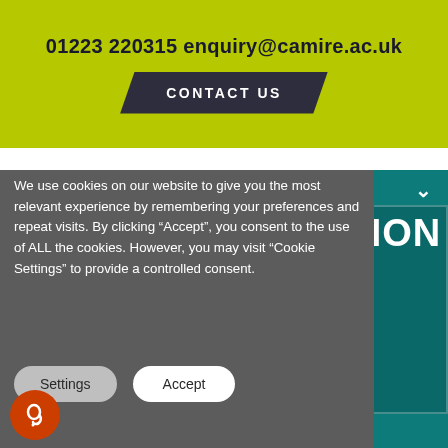01223 220315 enquiry@camire.ac.uk
CONTACT US
We use cookies on our website to give you the most relevant experience by remembering your preferences and repeat visits. By clicking “Accept”, you consent to the use of ALL the cookies. However, you may visit "Cookie Settings" to provide a controlled consent.
Settings
Accept
CTION